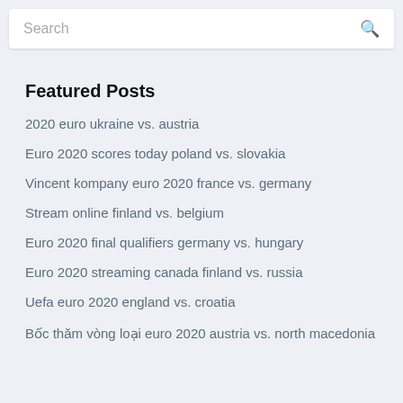Search
Featured Posts
2020 euro ukraine vs. austria
Euro 2020 scores today poland vs. slovakia
Vincent kompany euro 2020 france vs. germany
Stream online finland vs. belgium
Euro 2020 final qualifiers germany vs. hungary
Euro 2020 streaming canada finland vs. russia
Uefa euro 2020 england vs. croatia
Bốc thăm vòng loại euro 2020 austria vs. north macedonia